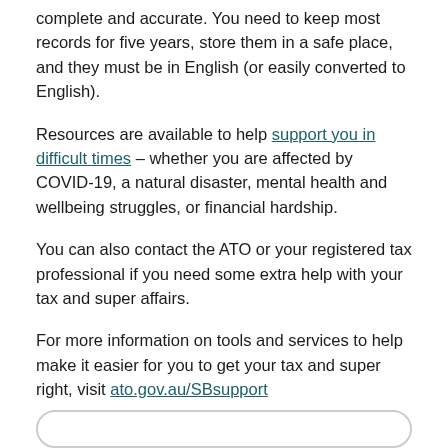complete and accurate. You need to keep most records for five years, store them in a safe place, and they must be in English (or easily converted to English).
Resources are available to help support you in difficult times – whether you are affected by COVID-19, a natural disaster, mental health and wellbeing struggles, or financial hardship.
You can also contact the ATO or your registered tax professional if you need some extra help with your tax and super affairs.
For more information on tools and services to help make it easier for you to get your tax and super right, visit ato.gov.au/SBsupport